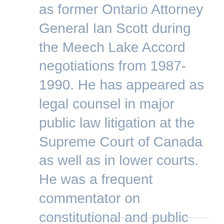as former Ontario Attorney General Ian Scott during the Meech Lake Accord negotiations from 1987-1990. He has appeared as legal counsel in major public law litigation at the Supreme Court of Canada as well as in lower courts. He was a frequent commentator on constitutional and public policy issues in the national media. He received his LL.B. degree from Osgoode Hall Law School at York University, where he graduated as Gold Medalist, and an LL.M. degree from Harvard University. On May 19, 2017 Patrick Monahan was appointed by the federal government of Canada as a judge of the Superior Court of Justice in Toronto.